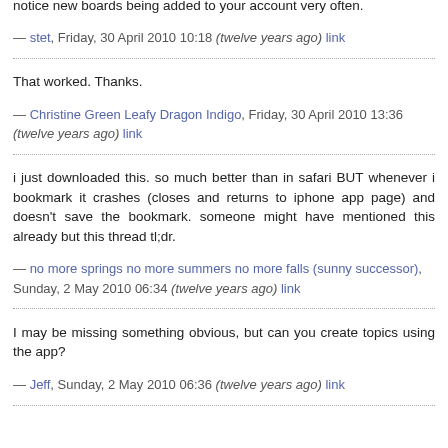notice new boards being added to your account very often.
— stet, Friday, 30 April 2010 10:18 (twelve years ago) link
That worked. Thanks.
— Christine Green Leafy Dragon Indigo, Friday, 30 April 2010 13:36 (twelve years ago) link
i just downloaded this. so much better than in safari BUT whenever i bookmark it crashes (closes and returns to iphone app page) and doesn't save the bookmark. someone might have mentioned this already but this thread tl;dr.
— no more springs no more summers no more falls (sunny successor), Sunday, 2 May 2010 06:34 (twelve years ago) link
I may be missing something obvious, but can you create topics using the app?
— Jeff, Sunday, 2 May 2010 06:36 (twelve years ago) link